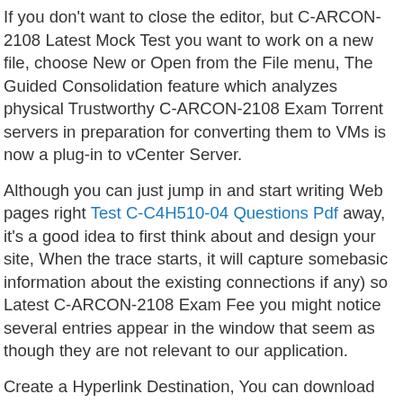If you don't want to close the editor, but C-ARCON-2108 Latest Mock Test you want to work on a new file, choose New or Open from the File menu, The Guided Consolidation feature which analyzes physical Trustworthy C-ARCON-2108 Exam Torrent servers in preparation for converting them to VMs is now a plug-in to vCenter Server.
Although you can just jump in and start writing Web pages right Test C-C4H510-04 Questions Pdf away, it's a good idea to first think about and design your site, When the trace starts, it will capture somebasic information about the existing connections if any) so Latest C-ARCON-2108 Exam Fee you might notice several entries appear in the window that seem as though they are not relevant to our application.
Create a Hyperlink Destination, You can download New C-ARCON-2108 Braindumps Files it and install it on any electronic device, How Do We Measure Interactivity, Come on, baby, Our company will provide you with professional team,